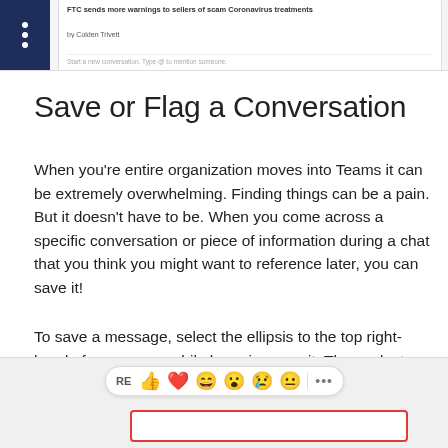[Figure (screenshot): Top portion of a Microsoft Teams chat interface screenshot showing a conversation about FTC sending warnings to sellers of scam Coronavirus treatments]
Save or Flag a Conversation
When you’re entire organization moves into Teams it can be extremely overwhelming. Finding things can be a pain. But it doesn’t have to be. When you come across a specific conversation or piece of information during a chat that you think you might want to reference later, you can save it!
To save a message, select the ellipsis to the top right-hand of a message while hovering over it. Then select Save this message.
[Figure (screenshot): Bottom portion of Microsoft Teams interface showing emoji reaction bar with thumbs up, heart, grinning face, surprised face, sad face, neutral face emojis and a more options button, with a red-bordered Save this message button below]